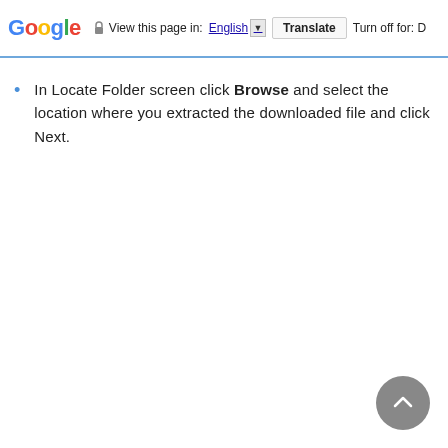Google  View this page in: English ▼  Translate  Turn off for: D
In Locate Folder screen click Browse and select the location where you extracted the downloaded file and click Next.